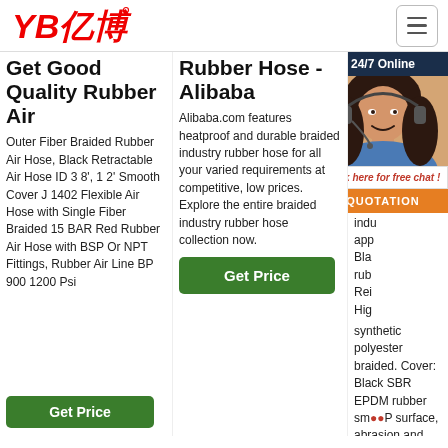[Figure (logo): YB 亿博 logo in red italic text]
Get Good Quality Rubber Air
Outer Fiber Braided Rubber Air Hose, Black Retractable Air Hose ID 3 8', 1 2' Smooth Cover J 1402 Flexible Air Hose with Single Fiber Braided 15 BAR Red Rubber Air Hose with BSP Or NPT Fittings, Rubber Air Line BP 900 1200 Psi
Rubber Hose - Alibaba
Alibaba.com features heatproof and durable braided industry rubber hose for all your varied requirements at competitive, low prices. Explore the entire braided industry rubber hose collection now.
In Malaysia
Me... hos... com... min... con... and... indu... app... Bla... rub... Rei... Hig... synthetic polyester braided. Cover: Black SBR EPDM rubber sm... surface, abrasion and weather resistant. Branding:
[Figure (photo): Customer service representative woman with headset, smiling, with 24/7 Online bar, click here for free chat bubble, and QUOTATION orange button]
Get Price
Get Price